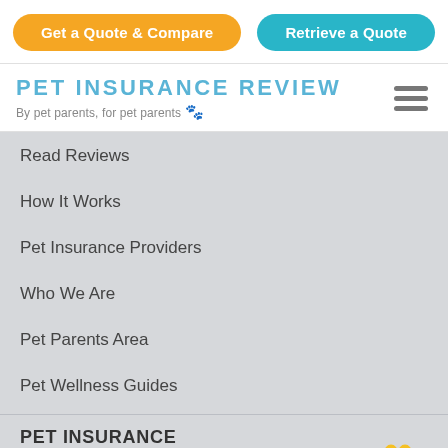Get a Quote & Compare | Retrieve a Quote
[Figure (logo): Pet Insurance Review logo with tagline 'By pet parents, for pet parents' and paw print icon]
Read Reviews
How It Works
Pet Insurance Providers
Who We Are
Pet Parents Area
Pet Wellness Guides
PET INSURANCE
Pet Insurance